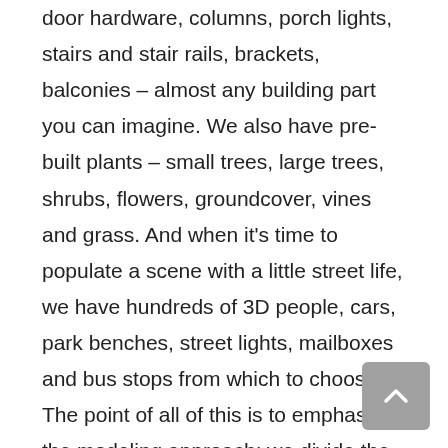door hardware, columns, porch lights, stairs and stair rails, brackets, balconies – almost any building part you can imagine. We also have pre-built plants – small trees, large trees, shrubs, flowers, groundcover, vines and grass. And when it's time to populate a scene with a little street life, we have hundreds of 3D people, cars, park benches, street lights, mailboxes and bus stops from which to choose. The point of all of this is to emphasize the modeling approach: we divide the work into two groups: that which must be custom built for the project, and that which can be created from pre-built objects.